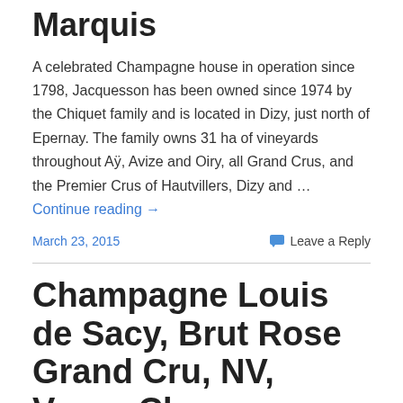Marquis
A celebrated Champagne house in operation since 1798, Jacquesson has been owned since 1974 by the Chiquet family and is located in Dizy, just north of Epernay. The family owns 31 ha of vineyards throughout Aÿ, Avize and Oiry, all Grand Crus, and the Premier Crus of Hautvillers, Dizy and … Continue reading →
March 23, 2015
Leave a Reply
Champagne Louis de Sacy, Brut Rose Grand Cru, NV, Verzy, Champagne, France, 12% abv, 375 ml